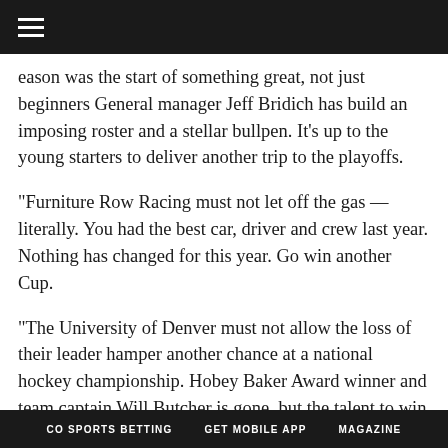≡
eason was the start of something great, not just beginners General manager Jeff Bridich has build an imposing roster and a stellar bullpen. It's up to the young starters to deliver another trip to the playoffs.
“Furniture Row Racing must not let off the gas — literally. You had the best car, driver and crew last year. Nothing has changed for this year. Go win another Cup.
“The University of Denver must not allow the loss of their leader hamper another chance at a national hockey championship. Hobey Baker Award winner and team captain Will Butcher is gone, but the talent to win another NCAA title remains. Bring home the hardware, again.
“Our Winter Olympians must show that — even though Colorado has refused and continues to generally rebuff the notion of
CO SPORTS BETTING   GET MOBILE APP   MAGAZINE